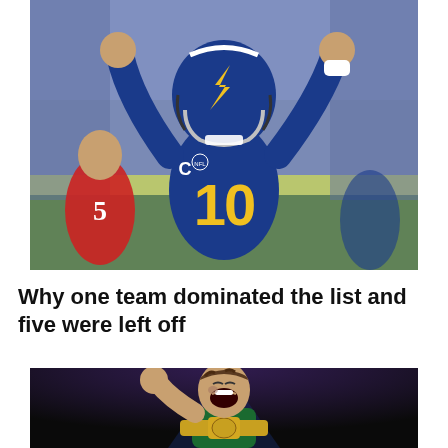[Figure (photo): NFL player wearing blue Los Angeles Chargers jersey number 10 with both fists raised in celebration, wearing a helmet with lightning bolt design, on a football field]
Why one team dominated the list and five were left off
[Figure (photo): A boxer with mouth open in a celebratory roar, wearing a green outfit and holding a championship belt, against a dark background]